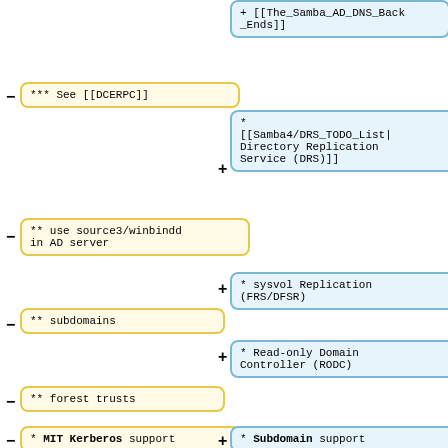[Figure (flowchart): A diff/comparison flowchart showing removed items (yellow boxes on left with minus signs) and added items (blue boxes on right with plus signs). Content includes wiki links and technical terms related to Samba AD, DCERPC, winbindd, subdomains, forest trusts, MIT Kerberos, DRS, sysvol replication, RODC, and Subdomain support.]